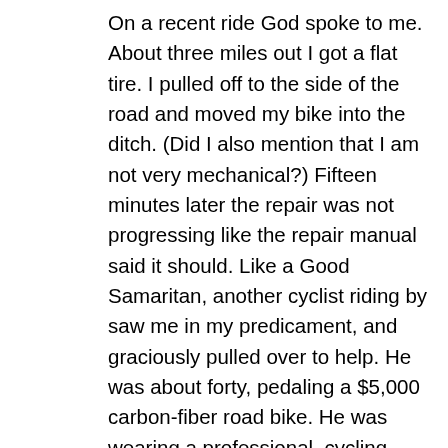On a recent ride God spoke to me. About three miles out I got a flat tire. I pulled off to the side of the road and moved my bike into the ditch. (Did I also mention that I am not very mechanical?) Fifteen minutes later the repair was not progressing like the repair manual said it should. Like a Good Samaritan, another cyclist riding by saw me in my predicament, and graciously pulled over to help. He was about forty, pedaling a $5,000 carbon-fiber road bike. He was wearing a professional  cycling outfit that probably cost $500. He was “sculpted.” He didn’t even have one percent body fat. His lightly bronzed skin covered muscles that bulged in all the right places. “Can I help?” he graciously asked. He could see that I was in trouble. “I am having trouble changing my tire.”